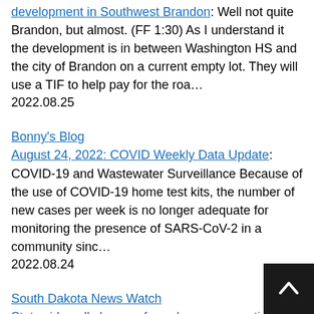development in Southwest Brandon: Well not quite Brandon, but almost. (FF 1:30) As I understand it the development is in between Washington HS and the city of Brandon on a current empty lot. They will use a TIF to help pay for the roa…
2022.08.25
Bonny's Blog
August 24, 2022: COVID Weekly Data Update: COVID-19 and Wastewater Surveillance Because of the use of COVID-19 home test kits, the number of new cases per week is no longer adequate for monitoring the presence of SARS-CoV-2 in a community sinc…
2022.08.24
South Dakota News Watch
Statewide poll shows referendum on recreational marijuana legalization in S.D. could fail in Novembe